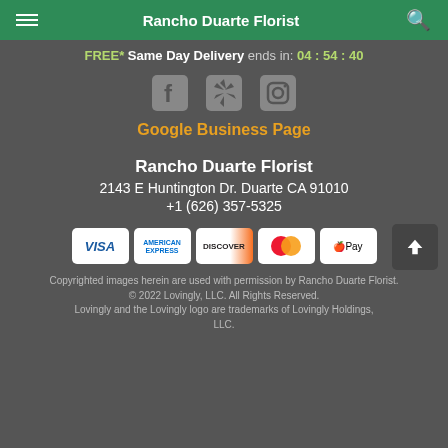Rancho Duarte Florist
FREE* Same Day Delivery ends in: 04 : 54 : 40
[Figure (other): Social media icons: Facebook, Yelp, Instagram]
Google Business Page
Rancho Duarte Florist
2143 E Huntington Dr. Duarte CA 91010
+1 (626) 357-5325
[Figure (other): Payment method icons: VISA, American Express, Discover, Mastercard, Apple Pay]
Copyrighted images herein are used with permission by Rancho Duarte Florist.
© 2022 Lovingly, LLC. All Rights Reserved.
Lovingly and the Lovingly logo are trademarks of Lovingly Holdings, LLC.